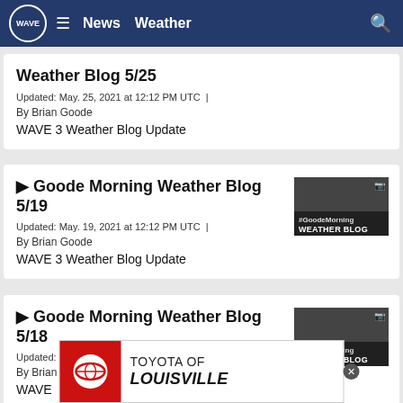WAVE | News | Weather
Weather Blog 5/25
Updated: May. 25, 2021 at 12:12 PM UTC  |  By Brian Goode
WAVE 3 Weather Blog Update
▶ Goode Morning Weather Blog 5/19
Updated: May. 19, 2021 at 12:12 PM UTC  |  By Brian Goode
WAVE 3 Weather Blog Update
▶ Goode Morning Weather Blog 5/18
Updated: May. 18, 2021 at 12:09 PM UTC  |
By Brian
WAVE
[Figure (screenshot): Toyota of Louisville advertisement banner with red Toyota logo and bold text]